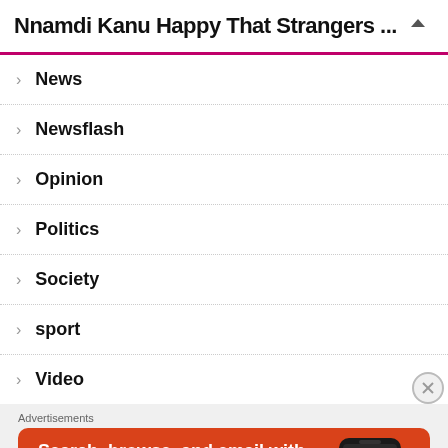Nnamdi Kanu Happy That Strangers ...
News
Newsflash
Opinion
Politics
Society
sport
Video
Advertisements
[Figure (illustration): DuckDuckGo advertisement banner on orange background. Text reads: Search, browse, and email with more privacy. All in One Free App. Shows a phone mockup with DuckDuckGo logo.]